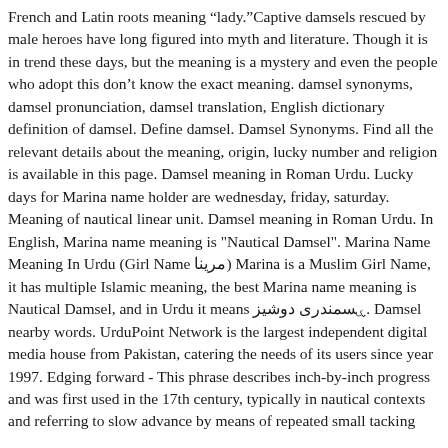French and Latin roots meaning “lady.”Captive damsels rescued by male heroes have long figured into myth and literature. Though it is in trend these days, but the meaning is a mystery and even the people who adopt this don’t know the exact meaning. damsel synonyms, damsel pronunciation, damsel translation, English dictionary definition of damsel. Define damsel. Damsel Synonyms. Find all the relevant details about the meaning, origin, lucky number and religion is available in this page. Damsel meaning in Roman Urdu. Lucky days for Marina name holder are wednesday, friday, saturday. Meaning of nautical linear unit. Damsel meaning in Roman Urdu. In English, Marina name meaning is "Nautical Damsel". Marina Name Meaning In Urdu (Girl Name مرینا) Marina is a Muslim Girl Name, it has multiple Islamic meaning, the best Marina name meaning is Nautical Damsel, and in Urdu it means ۑسمندری دوشیز. Damsel nearby words. UrduPoint Network is the largest independent digital media house from Pakistan, catering the needs of its users since year 1997. Edging forward - This phrase describes inch-by-inch progress and was first used in the 17th century, typically in nautical contexts and referring to slow advance by means of repeated small tacking